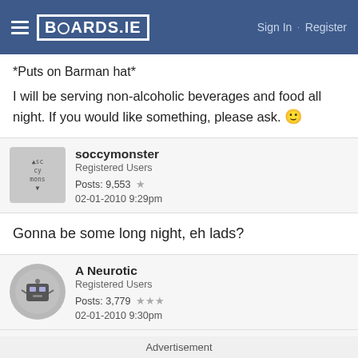BOARDS.IE  Sign In · Register
*Puts on Barman hat*
I will be serving non-alcoholic beverages and food all night. If you would like something, please ask. 🙂
soccymonster
Registered Users
Posts: 9,553 ★
02-01-2010 9:29pm
Gonna be some long night, eh lads?
A Neurotic
Registered Users
Posts: 3,779 ★★★
02-01-2010 9:30pm
Advertisement